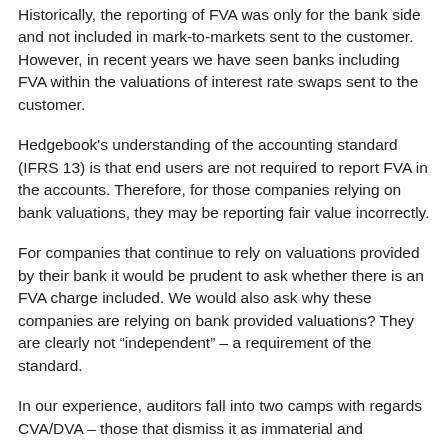Historically, the reporting of FVA was only for the bank side and not included in mark-to-markets sent to the customer. However, in recent years we have seen banks including FVA within the valuations of interest rate swaps sent to the customer.
Hedgebook's understanding of the accounting standard (IFRS 13) is that end users are not required to report FVA in the accounts. Therefore, for those companies relying on bank valuations, they may be reporting fair value incorrectly.
For companies that continue to rely on valuations provided by their bank it would be prudent to ask whether there is an FVA charge included. We would also ask why these companies are relying on bank provided valuations? They are clearly not “independent” – a requirement of the standard.
In our experience, auditors fall into two camps with regards CVA/DVA – those that dismiss it as immaterial and